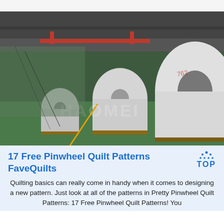[Figure (photo): Industrial warehouse interior with large rolls of white paper/material stacked on the floor. Green epoxy floor with yellow safety lines. Watermark text 'HAOMEI' visible. Metal roof structure with overhead crane.]
17 Free Pinwheel Quilt Patterns FaveQuilts TOP
Quilting basics can really come in handy when it comes to designing a new pattern. Just look at all of the patterns in Pretty Pinwheel Quilt Patterns: 17 Free Pinwheel Quilt Patterns! You